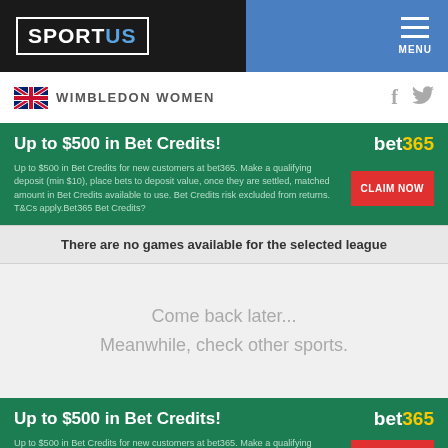SPORTUS — MENU
WIMBLEDON WOMEN
[Figure (infographic): Bet365 promotional banner: Up to $500 in Bet Credits! with claim now button]
There are no games available for the selected league
Come back later...
Meanwhile, check other sports.
[Figure (infographic): Bet365 promotional banner: Up to $500 in Bet Credits! with claim now button (repeated)]